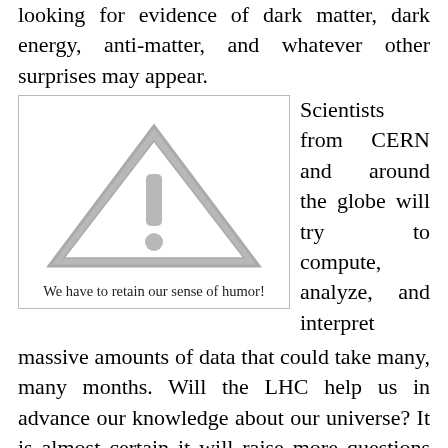looking for evidence of dark matter, dark energy, anti-matter, and whatever other surprises may appear.
[Figure (illustration): Warning triangle icon with exclamation mark, gray filled, on white background inside a bordered box. Caption reads: We have to retain our sense of humor!]
We have to retain our sense of humor!
Scientists from CERN and around the globe will try to compute, analyze, and interpret massive amounts of data that could take many, many months. Will the LHC help us in advance our knowledge about our universe? It is almost certain it will raise more questions than it answers. Yet if past experiments at labs around the world are any indication, we can assume the answer is yes. Of course, there are those who claim these giant academic egghead toys are a complete and total waste of time and resources. Time will tell. Stay